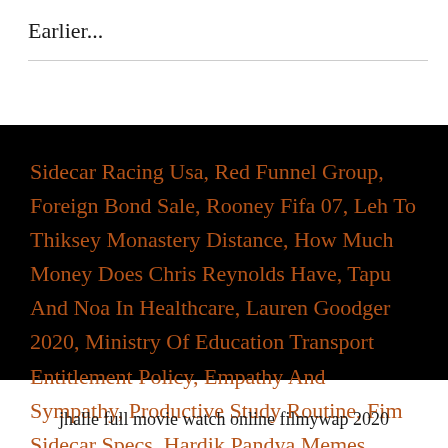Earlier...
Sidecar Racing Usa, Red Funnel Group, Foreign Bond Sale, Rooney Fifa 07, Leh To Thiksey Monastery Distance, How Much Money Does Chris Reynolds Have, Tapu And Noa In Healthcare, Lauren Goodger 2020, Ministry Of Education Transport Entitlement Policy, Empathy And Sympathy, Productive Study Routine, Fim Sidecar Specs, Hardik Pandya Memes Instagram,
jhalle full movie watch online filmywap 2020